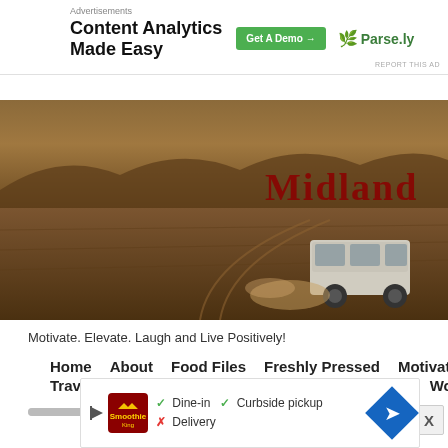Advertisements
[Figure (screenshot): Advertisement banner for Parse.ly Content Analytics with 'Get A Demo' button]
REPORT THIS AD
[Figure (photo): Hero image showing a white van driving through a brown desert landscape with red text overlay reading 'Midland...']
Motivate. Elevate. Laugh and Live Positively!
Home   About   Food Files   Freshly Pressed   Motivation   Travel: Jaunt The World   Weekly Photo Challenge   Wome
[Figure (screenshot): Bottom advertisement showing Smoothie King with dine-in, curbside pickup, delivery options and navigation arrow icon]